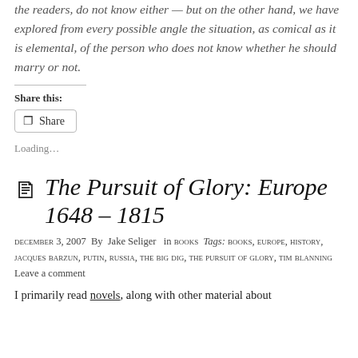the readers, do not know either — but on the other hand, we have explored from every possible angle the situation, as comical as it is elemental, of the person who does not know whether he should marry or not.
Share this:
Share
Loading...
The Pursuit of Glory: Europe 1648 – 1815
December 3, 2007  By  Jake Seliger   in Books  Tags: Books, Europe, History, Jacques Barzun, Putin, Russia, The Big Dig, The Pursuit of Glory, Tim Blanning  Leave a comment
I primarily read novels, along with other material about